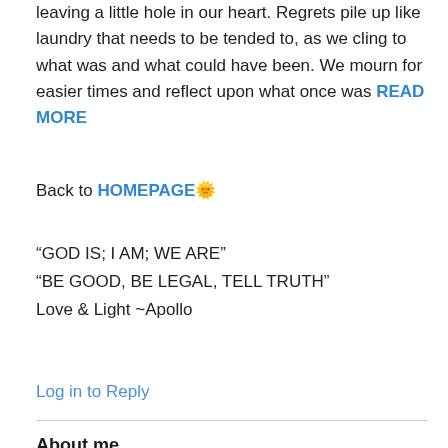leaving a little hole in our heart. Regrets pile up like laundry that needs to be tended to, as we cling to what was and what could have been. We mourn for easier times and reflect upon what once was READ MORE
Back to HOMEPAGE ☀
“GOD IS; I AM; WE ARE”
“BE GOOD, BE LEGAL, TELL TRUTH”
Love & Light ~Apollo
Log in to Reply
About me
About Me ☀